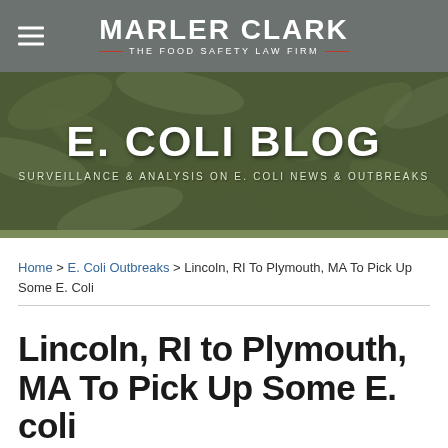MARLER CLARK THE FOOD SAFETY LAW FIRM
[Figure (illustration): E. Coli Blog banner with microscopic e. coli bacteria background image, green-tinted]
E. COLI BLOG
SURVEILLANCE & ANALYSIS ON E. COLI NEWS & OUTBREAKS
Home > E. Coli Outbreaks > Lincoln, RI To Plymouth, MA To Pick Up Some E. Coli
Lincoln, RI to Plymouth, MA To Pick Up Some E. coli
By E. coli Lawyer on October 21, 2009